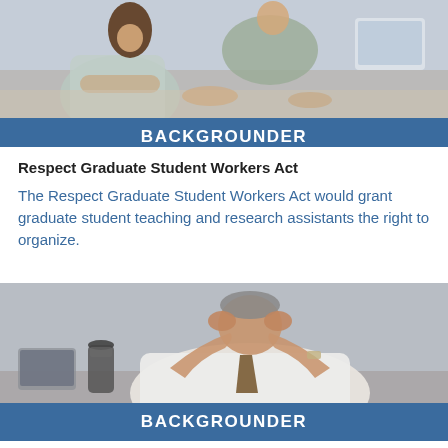[Figure (photo): Photo of people working at a table with laptops, top portion visible, showing a woman with long brown hair and others in an office meeting setting.]
BACKGROUNDER
Respect Graduate Student Workers Act
The Respect Graduate Student Workers Act would grant graduate student teaching and research assistants the right to organize.
[Figure (photo): Photo of a stressed man in a white shirt and brown tie sitting at a desk with his head in his hands, a travel mug and laptop visible beside him.]
BACKGROUNDER